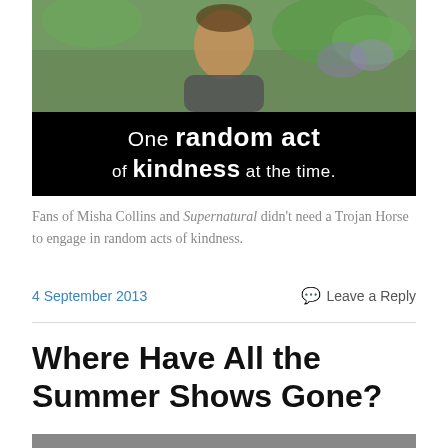[Figure (photo): Video screenshot/thumbnail showing a man outdoors with text overlay on black background: 'One random act of kindness at the time.']
Fans of Misha Collins and Supernatural didn't need a Trojan Horse to engage in random acts of kindness.
4 September 2013    Leave a Reply
Where Have All the Summer Shows Gone?
[Figure (photo): Partial image visible at bottom of page (cropped)]